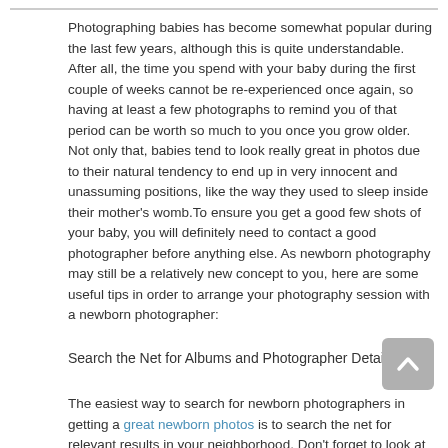Photographing babies has become somewhat popular during the last few years, although this is quite understandable. After all, the time you spend with your baby during the first couple of weeks cannot be re-experienced once again, so having at least a few photographs to remind you of that period can be worth so much to you once you grow older. Not only that, babies tend to look really great in photos due to their natural tendency to end up in very innocent and unassuming positions, like the way they used to sleep inside their mother’s womb.To ensure you get a good few shots of your baby, you will definitely need to contact a good photographer before anything else. As newborn photography may still be a relatively new concept to you, here are some useful tips in order to arrange your photography session with a newborn photographer:
Search the Net for Albums and Photographer Details
The easiest way to search for newborn photographers in getting a great newborn photos is to search the net for relevant results in your neighborhood. Don’t forget to look at